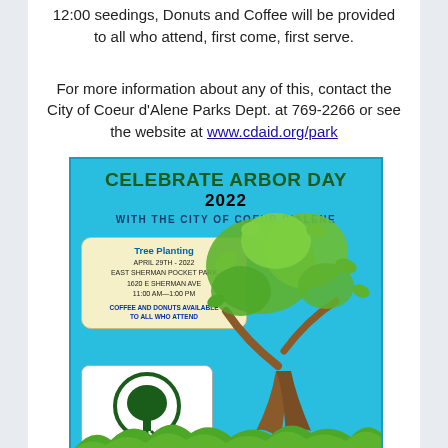12:00 seedings, Donuts and Coffee will be provided to all who attend, first come, first serve.
For more information about any of this, contact the City of Coeur d'Alene Parks Dept. at 769-2266 or see the website at www.cdaid.org/park
[Figure (infographic): Celebrate Arbor Day 2022 flyer with the City of Coeur d'Alene. Shows tree planting event details: April 29th 2022, East Sherman Pocket Park, 1620 E Sherman Ave, 11:00 am-1:00 pm, Coffee and Donuts available to all who attend. Features an illustrated tree graphic and a circular Arbor Day logo.]